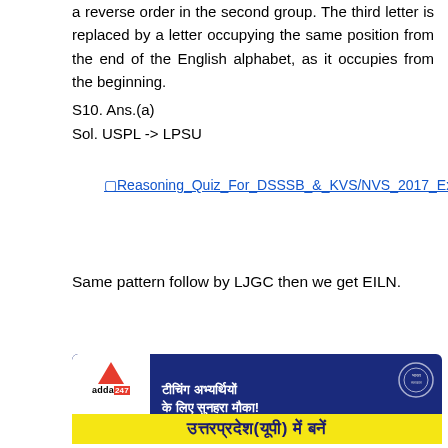a reverse order in the second group. The third letter is replaced by a letter occupying the same position from the end of the English alphabet, as it occupies from the beginning.
S10. Ans.(a)
Sol. USPL -> LPSU
[Figure (other): Hyperlinked image placeholder for Reasoning Quiz For DSSSB & KVS/NVS 2017 Exams_40.1]
Same pattern follow by LJGC then we get EILN.
[Figure (infographic): Advertisement banner for Adda247: Teaching jobs in Uttar Pradesh (UP) - DSSSB/DSE exam promotion with Hindi text reading 'टीचिंग अभ्यर्थियों के लिए सुनहरा मौका!' and 'उत्तरप्रदेश(यूपी) में बनें']